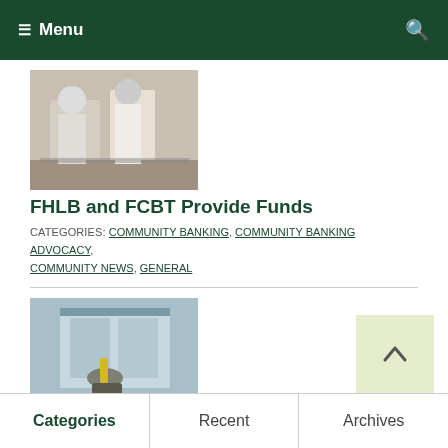Menu
[Figure (photo): Two people in masks at a bank counter]
FHLB and FCBT Provide Funds
CATEGORIES: COMMUNITY BANKING, COMMUNITY BANKING ADVOCACY, COMMUNITY NEWS, GENERAL
[Figure (photo): A hand with glove painting or working on a building exterior]
Your Home Is Your Biggest Investment
CATEGORIES: COMMUNITY BANKING, COMMUNITY BANKING ADVOCACY, GENERAL, MORTGAGE LOANS
Categories | Recent | Archives